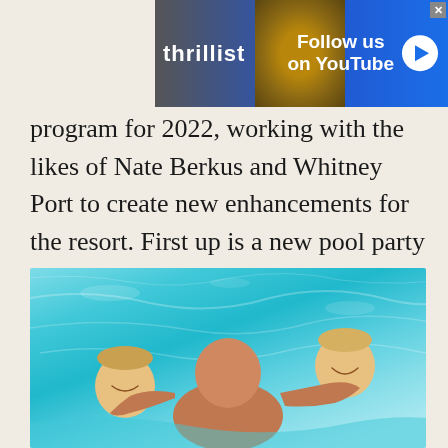[Figure (other): Thrillist advertisement banner with 'Follow us on YouTube' text, play button, and photo of person with alligator]
program for 2022, working with the likes of Nate Berkus and Whitney Port to create new enhancements for the resort. First up is a new pool party experience recurring this summer, complete with beachy playlist and poolside activities, created by Stephen “tWitch” Boss and Allison Holker.
[Figure (photo): A parent in a pool holding two laughing young children in turquoise water]